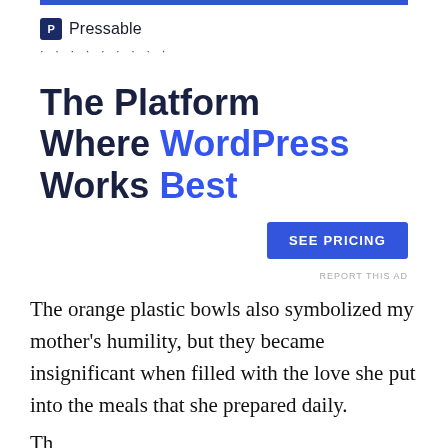[Figure (logo): Pressable brand logo with blue square P icon and brand name, followed by dotted line separator]
The Platform Where WordPress Works Best
SEE PRICING
REPORT THIS AD
The orange plastic bowls also symbolized my mother's humility, but they became insignificant when filled with the love she put into the meals that she prepared daily.
Th...